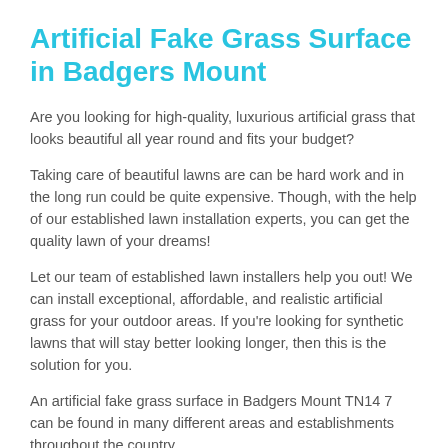Artificial Fake Grass Surface in Badgers Mount
Are you looking for high-quality, luxurious artificial grass that looks beautiful all year round and fits your budget?
Taking care of beautiful lawns are can be hard work and in the long run could be quite expensive. Though, with the help of our established lawn installation experts, you can get the quality lawn of your dreams!
Let our team of established lawn installers help you out! We can install exceptional, affordable, and realistic artificial grass for your outdoor areas. If you're looking for synthetic lawns that will stay better looking longer, then this is the solution for you.
An artificial fake grass surface in Badgers Mount TN14 7 can be found in many different areas and establishments throughout the country.
For more information on these surfaces, please do not hesitate to